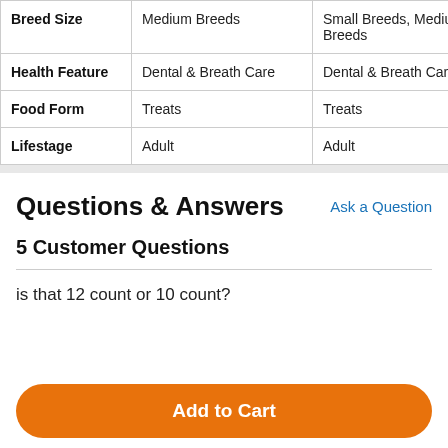|  | Col1 | Col2 | Col3 |
| --- | --- | --- | --- |
| Breed Size | Medium Breeds | Small Breeds, Medium Breeds | B… |
| Health Feature | Dental & Breath Care | Dental & Breath Care | D… |
| Food Form | Treats | Treats | T… |
| Lifestage | Adult | Adult | A… |
Questions & Answers
Ask a Question
5 Customer Questions
is that 12 count or 10 count?